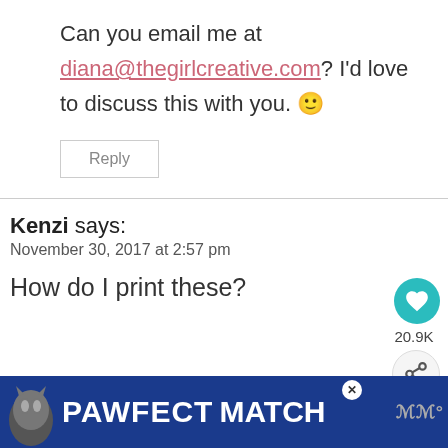Can you email me at diana@thegirlcreative.com? I'd love to discuss this with you. 🙂
Reply
Kenzi says:
November 30, 2017 at 2:57 pm
How do I print these?
[Figure (screenshot): PAWFECT MATCH advertisement banner with cat image and close button]
WHAT'S NEXT → Printable Farmhouse...